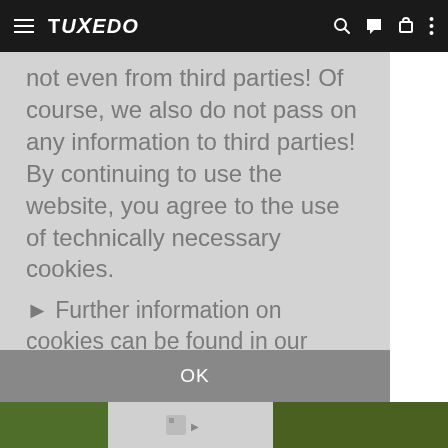TUXEDO
not even from third parties! Of course, we also do not pass on any information to third parties! By continuing to use the website, you agree to the use of technically necessary cookies.
▶ Further information on cookies can be found in our privacy policy.
OK